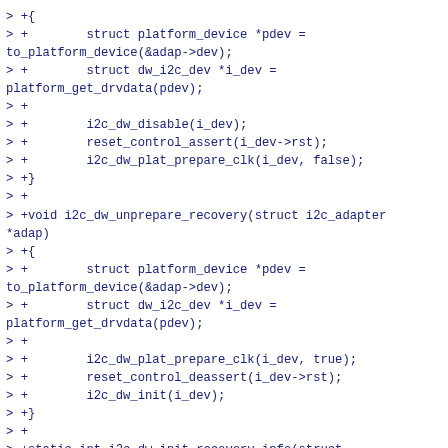> +{
> +        struct platform_device *pdev =
to_platform_device(&adap->dev);
> +        struct dw_i2c_dev *i_dev =
platform_get_drvdata(pdev);
> +
> +        i2c_dw_disable(i_dev);
> +        reset_control_assert(i_dev->rst);
> +        i2c_dw_plat_prepare_clk(i_dev, false);
> +}
> +
> +void i2c_dw_unprepare_recovery(struct i2c_adapter
*adap)
> +{
> +        struct platform_device *pdev =
to_platform_device(&adap->dev);
> +        struct dw_i2c_dev *i_dev =
platform_get_drvdata(pdev);
> +
> +        i2c_dw_plat_prepare_clk(i_dev, true);
> +        reset_control_deassert(i_dev->rst);
> +        i2c_dw_init(i_dev);
> +}
> +
> +static int i2c_dw_init_recovery_info(struct
dw_i2c_dev *dev, struct i2c_adapter *adap)
> +{
> +        struct i2c_bus_recovery_info *rinfo = &dev-
>rinfo;
> +